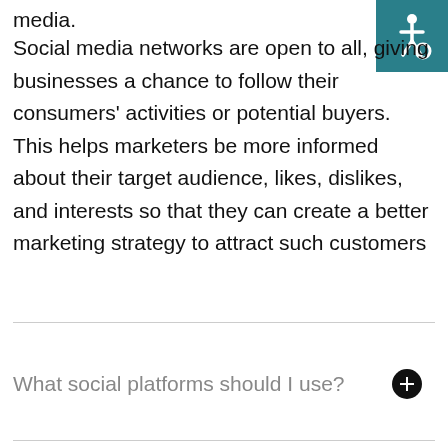media.
[Figure (logo): Accessibility icon (wheelchair symbol) on teal/dark cyan background, top right corner]
Social media networks are open to all, giving businesses a chance to follow their consumers’ activities or potential buyers. This helps marketers be more informed about their target audience, likes, dislikes, and interests so that they can create a better marketing strategy to attract such customers
What social platforms should I use?